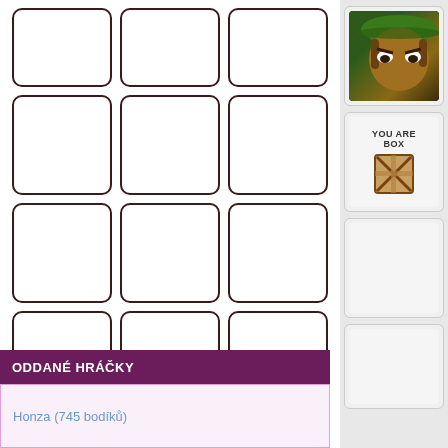[Figure (illustration): 3x4 grid of empty rounded-corner boxes (inventory/card slots)]
[Figure (illustration): Side column with avatar image (character with green hat), a YOU ARE BOX panel with wooden crate icon, and two empty panels]
ODDANÉ HRÁČKY
Honza (745 bodíků)